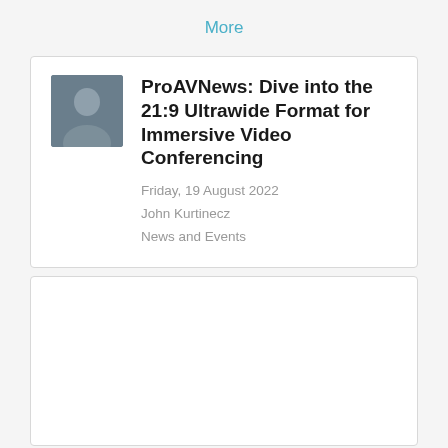More
ProAVNews: Dive into the 21:9 Ultrawide Format for Immersive Video Conferencing
Friday, 19 August 2022
John Kurtinecz
News and Events
[Figure (photo): Empty white card placeholder at the bottom of the page]